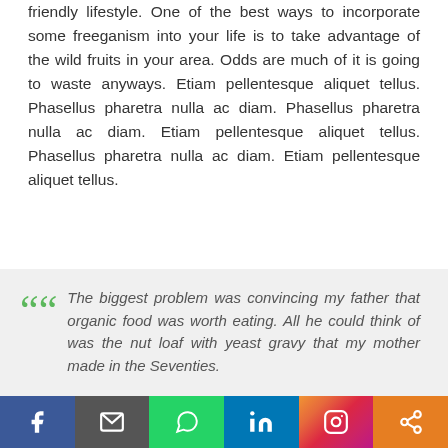friendly lifestyle. One of the best ways to incorporate some freeganism into your life is to take advantage of the wild fruits in your area. Odds are much of it is going to waste anyways. Etiam pellentesque aliquet tellus. Phasellus pharetra nulla ac diam. Phasellus pharetra nulla ac diam. Etiam pellentesque aliquet tellus. Phasellus pharetra nulla ac diam. Etiam pellentesque aliquet tellus.
The biggest problem was convincing my father that organic food was worth eating. All he could think of was the nut loaf with yeast gravy that my mother made in the Seventies.